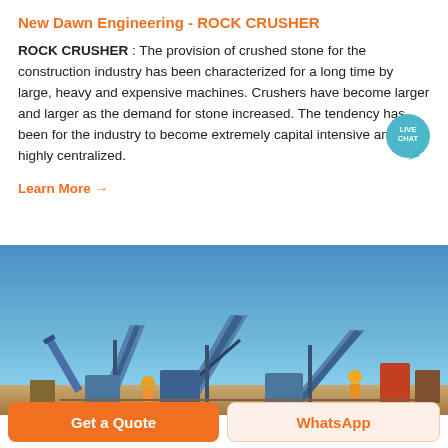New Dawn Engineering - ROCK CRUSHER
ROCK CRUSHER : The provision of crushed stone for the construction industry has been characterized for a long time by large, heavy and expensive machines. Crushers have become larger and larger as the demand for stone increased. The tendency has been for the industry to become extremely capital intensive and highly centralized.
Learn More →
[Figure (photo): Industrial rock crusher machinery with conveyor belts and workers in hard hats against a blue sky background]
Get a Quote
WhatsApp